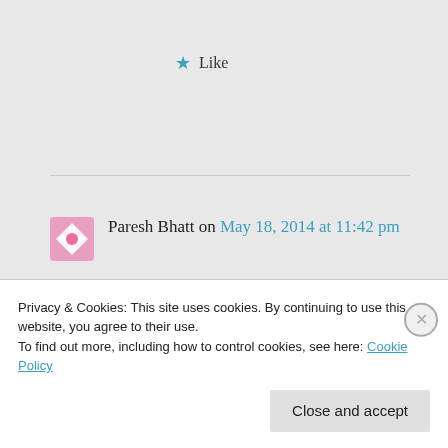Like
Paresh Bhatt on May 18, 2014 at 11:42 pm
Hi Pawel,

Thanks for update. I have installed Beta Version and for. Not
Privacy & Cookies: This site uses cookies. By continuing to use this website, you agree to their use.
To find out more, including how to control cookies, see here: Cookie Policy
Close and accept